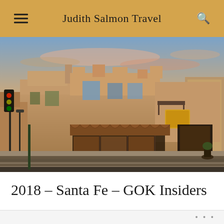Judith Salmon Travel
[Figure (photo): Adobe pueblo-style building in Santa Fe, NM at dusk/twilight, warm golden lighting on the facade, storefront awnings visible, traffic light pole in foreground left, hotel/commercial buildings in background right, colorful sunset sky with pink and blue clouds]
2018 – Santa Fe – GOK Insiders
...